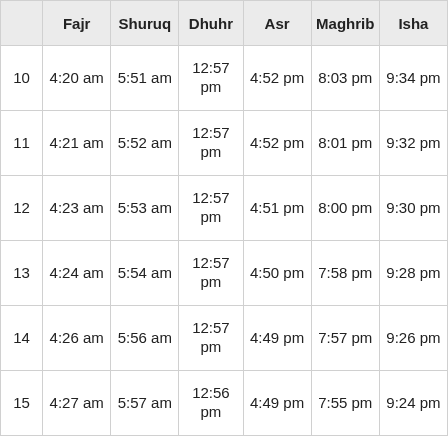|  | Fajr | Shuruq | Dhuhr | Asr | Maghrib | Isha |
| --- | --- | --- | --- | --- | --- | --- |
| 10 | 4:20 am | 5:51 am | 12:57 pm | 4:52 pm | 8:03 pm | 9:34 pm |
| 11 | 4:21 am | 5:52 am | 12:57 pm | 4:52 pm | 8:01 pm | 9:32 pm |
| 12 | 4:23 am | 5:53 am | 12:57 pm | 4:51 pm | 8:00 pm | 9:30 pm |
| 13 | 4:24 am | 5:54 am | 12:57 pm | 4:50 pm | 7:58 pm | 9:28 pm |
| 14 | 4:26 am | 5:56 am | 12:57 pm | 4:49 pm | 7:57 pm | 9:26 pm |
| 15 | 4:27 am | 5:57 am | 12:56 pm | 4:49 pm | 7:55 pm | 9:24 pm |